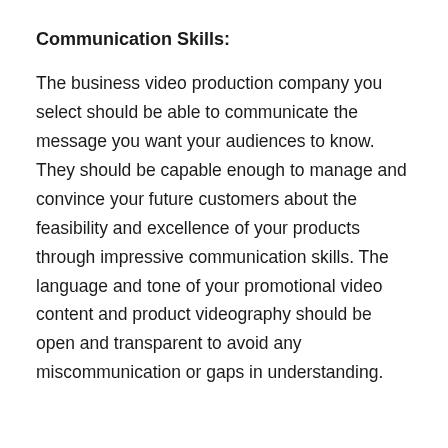Communication Skills:
The business video production company you select should be able to communicate the message you want your audiences to know. They should be capable enough to manage and convince your future customers about the feasibility and excellence of your products through impressive communication skills. The language and tone of your promotional video content and product videography should be open and transparent to avoid any miscommunication or gaps in understanding.